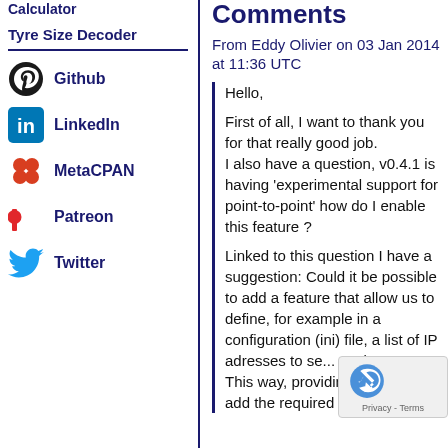Calculator
Tyre Size Decoder
Github
LinkedIn
MetaCPAN
Patreon
Twitter
Comments
From Eddy Olivier on 03 Jan 2014 at 11:36 UTC
Hello,

First of all, I want to thank you for that really good job.
I also have a question, v0.4.1 is having 'experimental support for point-to-point' how do I enable this feature ?

Linked to this question I have a suggestion: Could it be possible to add a feature that allow us to define, for example in a configuration (ini) file, a list of IP adresses to se... packets ?
This way, providing... players add the required